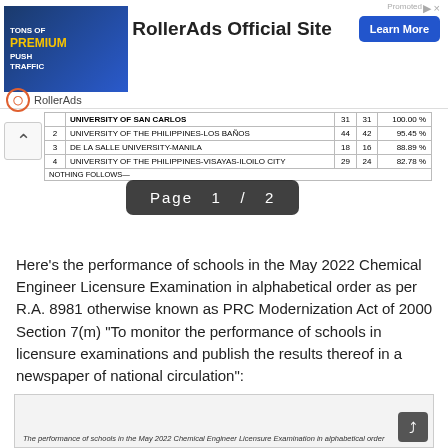[Figure (infographic): RollerAds advertisement banner with woman image, 'TONS OF PREMIUM PUSH TRAFFIC' text, 'RollerAds Official Site' heading, and 'Learn More' button]
|  | SCHOOL | ENROLLED | PASSED | PASSED |
| --- | --- | --- | --- | --- |
|  | UNIVERSITY OF SAN CARLOS | 31 | 31 | 100.00 % |
| 2 | UNIVERSITY OF THE PHILIPPINES-LOS BAÑOS | 44 | 42 | 95.45 % |
| 3 | DE LA SALLE UNIVERSITY-MANILA | 18 | 16 | 88.89 % |
| 4 | UNIVERSITY OF THE PHILIPPINES-VISAYAS-ILOILO CITY | 29 | 24 | 82.78 % |
|  | NOTHING FOLLOWS— |  |  |  |
Here's the performance of schools in the May 2022 Chemical Engineer Licensure Examination in alphabetical order as per R.A. 8981 otherwise known as PRC Modernization Act of 2000 Section 7(m) "To monitor the performance of schools in licensure examinations and publish the results thereof in a newspaper of national circulation":
[Figure (screenshot): Bottom portion of a document showing 'The performance of schools in the May 2022 Chemical Engineer Licensure Examination in alphabetical order' text]